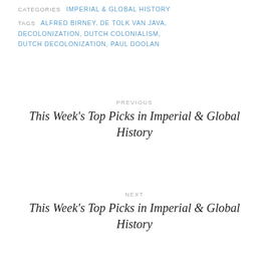CATEGORIES  IMPERIAL & GLOBAL HISTORY
TAGS  ALFRED BIRNEY, DE TOLK VAN JAVA, DECOLONIZATION, DUTCH COLONIALISM, DUTCH DECOLONIZATION, PAUL DOOLAN
PREVIOUS
This Week's Top Picks in Imperial & Global History
NEXT
This Week's Top Picks in Imperial & Global History